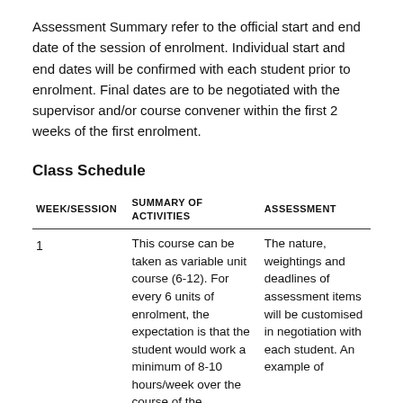Assessment Summary refer to the official start and end date of the session of enrolment. Individual start and end dates will be confirmed with each student prior to enrolment. Final dates are to be negotiated with the supervisor and/or course convener within the first 2 weeks of the first enrolment.
Class Schedule
| WEEK/SESSION | SUMMARY OF ACTIVITIES | ASSESSMENT |
| --- | --- | --- |
| 1 | This course can be taken as variable unit course (6-12). For every 6 units of enrolment, the expectation is that the student would work a minimum of 8-10 hours/week over the course of the semester. Course | The nature, weightings and deadlines of assessment items will be customised in negotiation with each student. An example of |